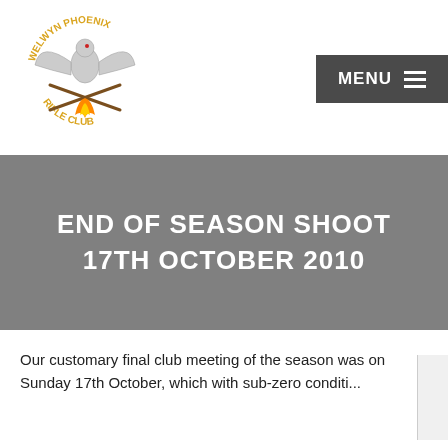[Figure (logo): Welwyn Phoenix Rifle Club circular logo with phoenix bird, crossed rifles, and flame, text 'WELWYN PHOENIX' arched at top in gold, 'RIFLE CLUB' at bottom in gold]
MENU ≡
END OF SEASON SHOOT 17TH OCTOBER 2010
Our customary final club meeting of the season was on Sunday 17th October, which with sub-zero conditi...